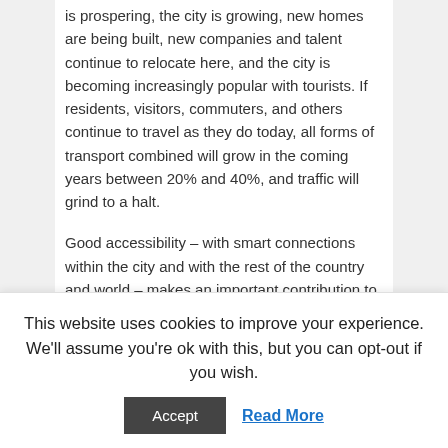is prospering, the city is growing, new homes are being built, new companies and talent continue to relocate here, and the city is becoming increasingly popular with tourists. If residents, visitors, commuters, and others continue to travel as they do today, all forms of transport combined will grow in the coming years between 20% and 40%, and traffic will grind to a halt.
Good accessibility – with smart connections within the city and with the rest of the country and world – makes an important contribution to Amsterdam's attractiveness for all travelers. Moreover, particularly in Amsterdam, social diversity and inclusivity are valued, which means providing everyone with equal access to good liveability and transport.
Mobility operates as the intersection between the city's
This website uses cookies to improve your experience. We'll assume you're ok with this, but you can opt-out if you wish.